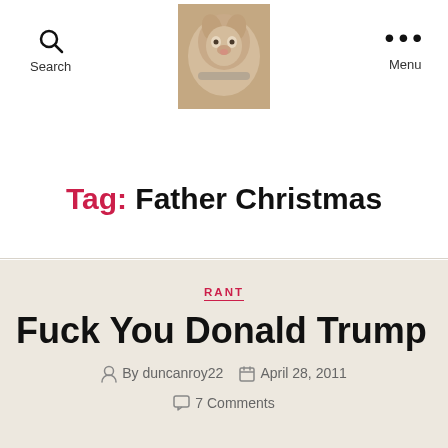Search | [dog photo] | Menu
Tag: Father Christmas
RANT
Fuck You Donald Trump
By duncanroy22  April 28, 2011  7 Comments